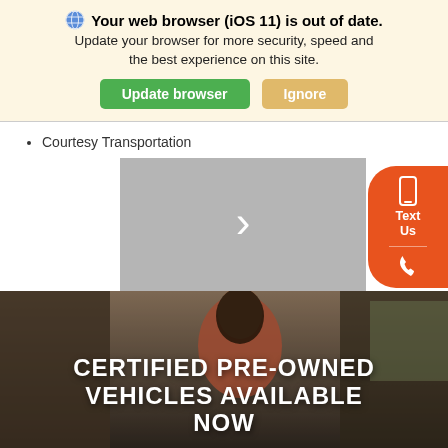🌐 Your web browser (iOS 11) is out of date. Update your browser for more security, speed and the best experience on this site. [Update browser] [Ignore]
Courtesy Transportation
[Figure (screenshot): Gray navigation panel with a right-pointing chevron arrow, and an orange floating 'Text Us' and phone call button on the right side]
[Figure (photo): Hero image of a smiling woman in a red top loading luggage into a vehicle, with large white bold text overlay reading 'CERTIFIED PRE-OWNED VEHICLES AVAILABLE NOW']
Accessibility  Search  Garage  Contact